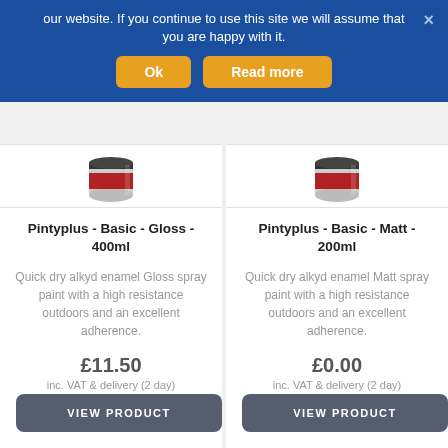our website. If you continue to use this site we will assume that you are happy with it.
Ok
Read more
[Figure (photo): Paint spray can product image - Pintyplus Basic Gloss 400ml]
Pintyplus - Basic - Gloss - 400ml
Quick dry alkyd enamel Gloss spray paint with a high resistance outdoors and an excellent adherence.
£11.50
inc. VAT & delivery (2 day)
VIEW PRODUCT
[Figure (photo): Paint spray can product image - Pintyplus Basic Matt 200ml]
Pintyplus - Basic - Matt - 200ml
Quick dry alkyd enamel Matt spray paint with a high resistance outdoors and an excellent adherence.
£0.00
inc. VAT & delivery (2 day)
VIEW PRODUCT